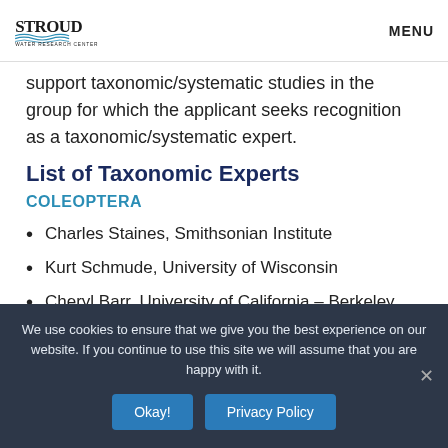Stroud Water Research Center | MENU
support taxonomic/systematic studies in the group for which the applicant seeks recognition as a taxonomic/systematic expert.
List of Taxonomic Experts
COLEOPTERA
Charles Staines, Smithsonian Institute
Kurt Schmude, University of Wisconsin
Cheryl Barr, University of California – Berkeley
We use cookies to ensure that we give you the best experience on our website. If you continue to use this site we will assume that you are happy with it.